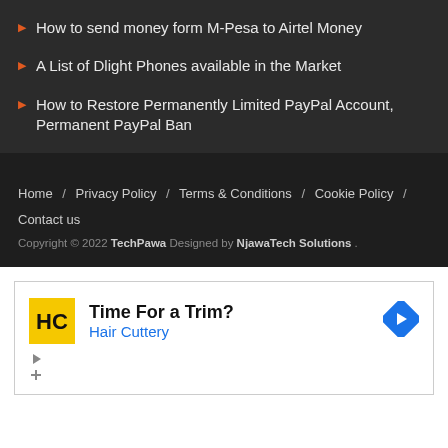How to send money form M-Pesa to Airtel Money
A List of Dlight Phones available in the Market
How to Restore Permanently Limited PayPal Account, Permanent PayPal Ban
Home / Privacy Policy / Terms & Conditions / Cookie Policy / Contact us
Copyright © 2022 TechPawa Designed by NjawaTech Solutions .
[Figure (infographic): Advertisement for Hair Cuttery with logo, text 'Time For a Trim? Hair Cuttery', a navigation arrow icon, and ad control icons.]